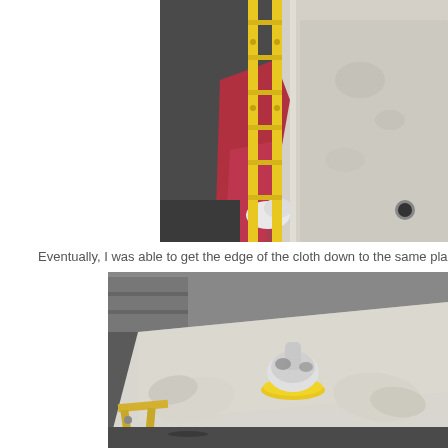[Figure (photo): Close-up photo of a yellow ladder leaning against a white fiberglass boat hull, with red cloth/tarp draped behind the ladder. The boat surface shows some weathering and a drain hole is visible.]
Eventually, I was able to get the edge of the cloth down to the same pla
[Figure (photo): Photo of a white orbital sander with yellow pad resting on a white fiberglass boat hull surface, with a white work glove nearby. The hull appears to be on sawhorses in a workshop.]